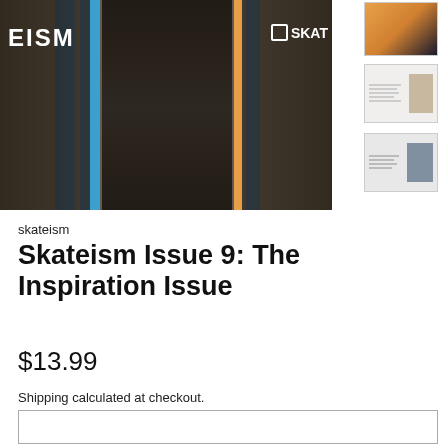[Figure (photo): Magazine cover photo of Skateism Issue 9 showing three women with braids on an orange background with blue diagonal stripes. The magazine is displayed as a physical object. Cover shows the text EISM on the left and SKAT logo on the right.]
[Figure (photo): Thumbnail 1: Small preview of the magazine cover, orange and dark tones]
[Figure (photo): Thumbnail 2: Interior spread of the magazine showing text and a portrait photo]
[Figure (photo): Thumbnail 3: Interior spread of the magazine showing text and a landscape/outdoor photo]
skateism
Skateism Issue 9: The Inspiration Issue
$13.99
Shipping calculated at checkout.